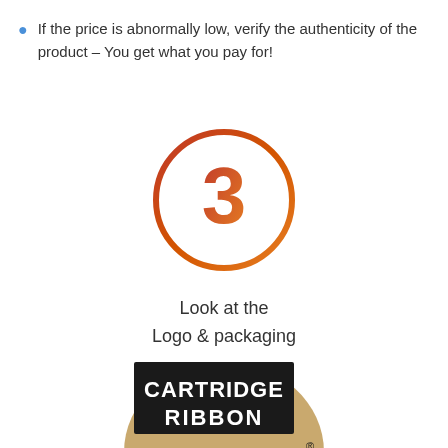If the price is abnormally low, verify the authenticity of the product – You get what you pay for!
[Figure (infographic): Circle with number 3 inside, gradient from red to orange, representing step 3]
Look at the Logo & packaging
[Figure (photo): Printronix cartridge ribbon product packaging — tan/kraft oval with black rectangle containing white text CARTRIDGE RIBBON, and PRINTRONIX logo below]